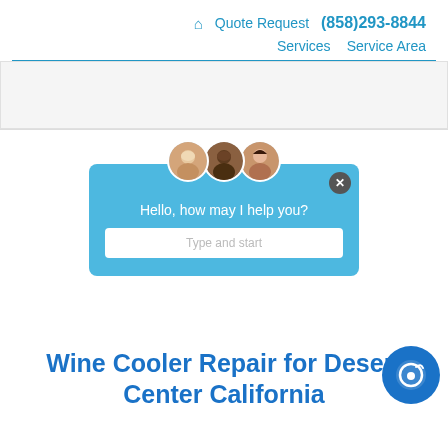🏠 Quote Request (858)293-8844 Services Service Area
[Figure (screenshot): Live chat widget popup with three agent avatar photos, blue background, message 'Hello, how may I help you?' and 'Type and start' input field]
Wine Cooler Repair for Desert Center California